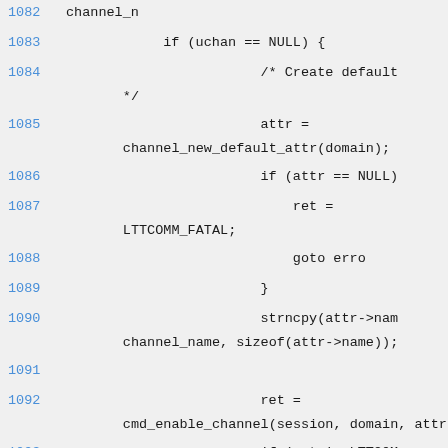1082    channel_n
1083        if (uchan == NULL) {
1084                    /* Create default
        */
1085                    attr =
        channel_new_default_attr(domain);
1086                    if (attr == NULL)
1087                        ret =
        LTTCOMM_FATAL;
1088                        goto erro
1089                    }
1090                    strncpy(attr->nam
        channel_name, sizeof(attr->name));
1091
1092                    ret =
        cmd_enable_channel(session, domain, attr,
1093                    if (ret != LTTCOM
1094                        free(attr